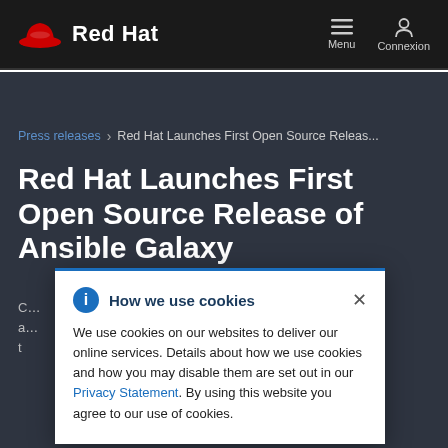Red Hat — Menu   Connexion
Press releases  >  Red Hat Launches First Open Source Releas...
Red Hat Launches First Open Source Release of Ansible Galaxy
... g platform is a ... nsible users t...
How we use cookies

We use cookies on our websites to deliver our online services. Details about how we use cookies and how you may disable them are set out in our Privacy Statement. By using this website you agree to our use of cookies.